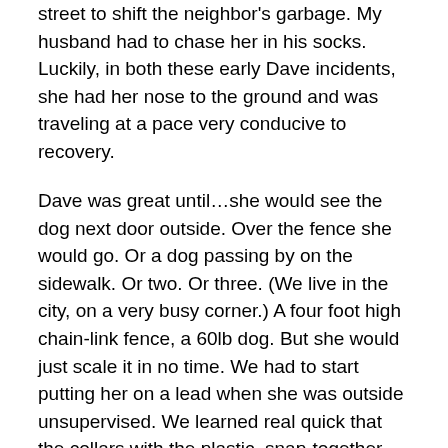street to shift the neighbor's garbage. My husband had to chase her in his socks. Luckily, in both these early Dave incidents, she had her nose to the ground and was traveling at a pace very conducive to recovery.
Dave was great until…she would see the dog next door outside. Over the fence she would go. Or a dog passing by on the sidewalk. Or two. Or three. (We live in the city, on a very busy corner.) A four foot high chain-link fence, a 60lb dog. But she would just scale it in no time. We had to start putting her on a lead when she was outside unsupervised. We learned real quick that the collars with the plastic, snap-together closure are not meant for tie-outs. Also, we learned to change the tie-outs annually, before they could break on their own. Both of these incidents ended with Dave in the neighbor's yard. Once they put their dog back in the house, she would stand